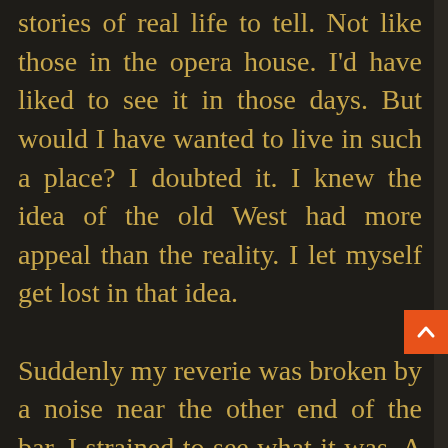stories of real life to tell. Not like those in the opera house. I'd have liked to see it in those days. But would I have wanted to live in such a place? I doubted it. I knew the idea of the old West had more appeal than the reality. I let myself get lost in that idea.

Suddenly my reverie was broken by a noise near the other end of the bar. I strained to see what it was. A gravely voice erupted above the occasional curses